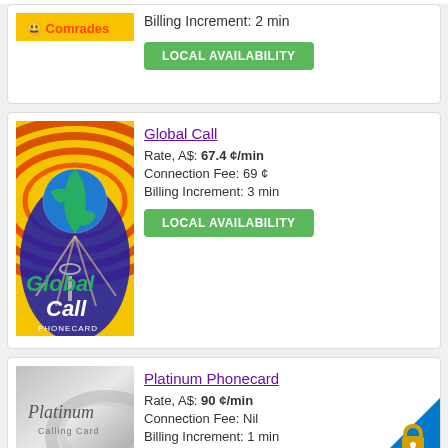Billing Increment: 2 min
LOCAL AVAILABILITY
Global Call
Rate, A$: 67.4 ¢/min
Connection Fee: 69 ¢
Billing Increment: 3 min
LOCAL AVAILABILITY
[Figure (photo): Global Call phone card — yellow card with earth globe and red concentric rings, titled 'Global Call PHONECARD']
Platinum Phonecard
Rate, A$: 90 ¢/min
Connection Fee: Nil
Billing Increment: 1 min
[Figure (photo): Platinum Calling Card — grey card with 'Platinum Calling Card' text]
[Figure (other): 256bit SSL Active 02/09/22 Phone Card Choice security badge — gold padlock on blue triangle]